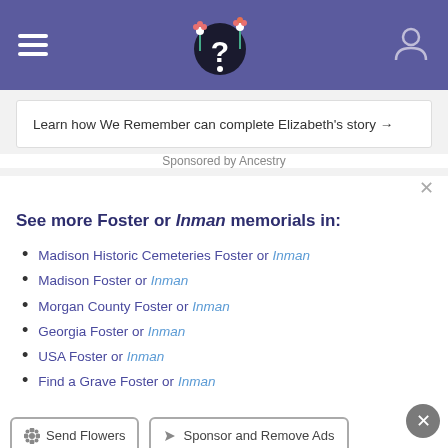Navigation bar with hamburger menu, Find A Grave logo, and user icon
Learn how We Remember can complete Elizabeth's story →
Sponsored by Ancestry
See more Foster or Inman memorials in:
Madison Historic Cemeteries Foster or Inman
Madison Foster or Inman
Morgan County Foster or Inman
Georgia Foster or Inman
USA Foster or Inman
Find a Grave Foster or Inman
Send Flowers
Sponsor and Remove Ads
Explore more